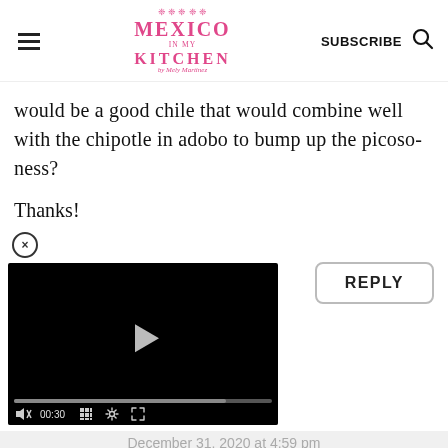Mexico in My Kitchen — SUBSCRIBE
would be a good chile that would combine well with the chipotle in adobo to bump up the picoso-ness?

Thanks!
[Figure (screenshot): Embedded video player showing a black screen with a play button triangle in the center, a progress bar, and controls showing mute, 00:30 time, grid, settings, and fullscreen icons.]
REPLY
December 31, 2020 at 4:59 pm
Hello Keith